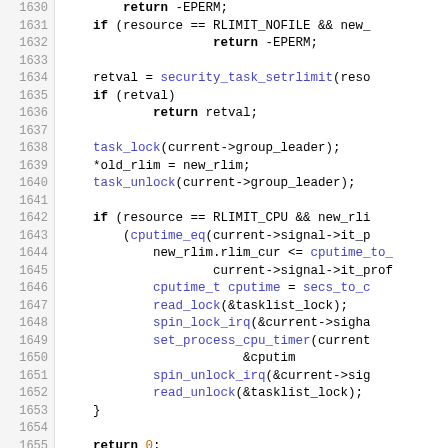Source code listing lines 1630-1659, C kernel code showing setrlimit function implementation